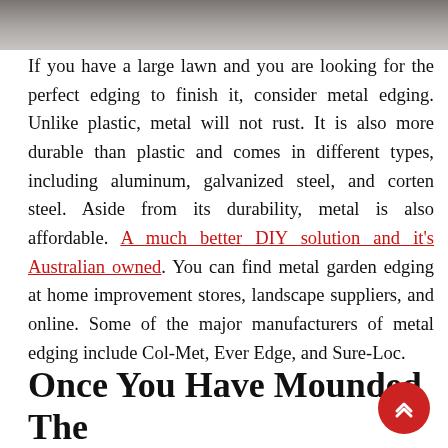[Figure (photo): Top portion of an image showing a close-up of soil or gravel ground texture, partially visible at the top of the page.]
If you have a large lawn and you are looking for the perfect edging to finish it, consider metal edging. Unlike plastic, metal will not rust. It is also more durable than plastic and comes in different types, including aluminum, galvanized steel, and corten steel. Aside from its durability, metal is also affordable. A much better DIY solution and it's Australian owned. You can find metal garden edging at home improvement stores, landscape suppliers, and online. Some of the major manufacturers of metal edging include Col-Met, Ever Edge, and Sure-Loc.
Once You Have Mounded The